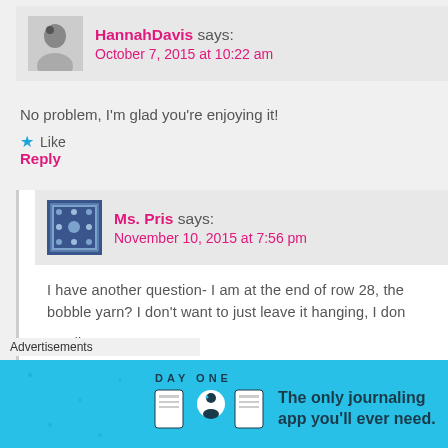HannahDavis says: October 7, 2015 at 10:22 am
No problem, I'm glad you're enjoying it!
★ Like
Reply
Ms. Pris says: November 10, 2015 at 7:56 pm
I have another question- I am at the end of row 28, the bobble yarn? I don't want to just leave it hanging, I don
★ Like
Advertisements
[Figure (illustration): Day One app advertisement banner with cyan background showing 'The only journaling app you'll ever need.' with illustrated icons]